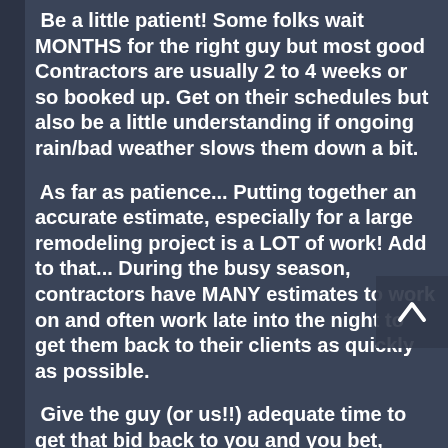Be a little patient! Some folks wait MONTHS for the right guy but most good Contractors are usually 2 to 4 weeks or so booked up. Get on their schedules but also be a little understanding if ongoing rain/bad weather slows them down a bit.
As far as patience... Putting together an accurate estimate, especially for a large remodeling project is a LOT of work! Add to that... During the busy season, contractors have MANY estimates to work on and often work late into the night to get them back to their clients as quickly as possible.
Give the guy (or us!!) adequate time to get that bid back to you and you bet, especially durin... ...y season